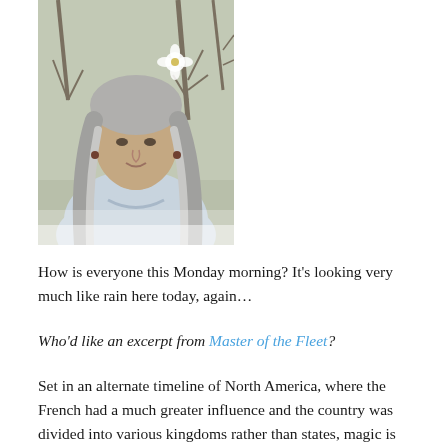[Figure (photo): Portrait photo of an older woman with long gray hair, wearing a light blue top, standing outdoors among bare trees with a white flower visible near her hair.]
How is everyone this Monday morning? It's looking very much like rain here today, again…
Who'd like an excerpt from Master of the Fleet?
Set in an alternate timeline of North America, where the French had a much greater influence and the country was divided into various kingdoms rather than states, magic is